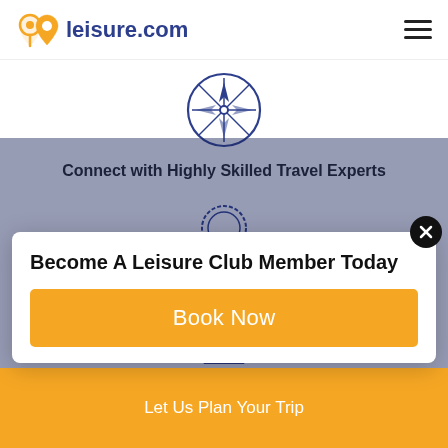leisure.com
[Figure (illustration): Compass rose icon in dark blue outline style, centered on page]
Connect with Highly Skilled Travel Experts
[Figure (illustration): Award/badge/ribbon icon in dark blue outline style, centered on page]
Provide Reliable & Transparent Services
[Figure (illustration): Document/list icon in dark blue outline style, partially visible at bottom]
Become A Leisure Club Member Today
Book Now
Let Us Plan Your Trip